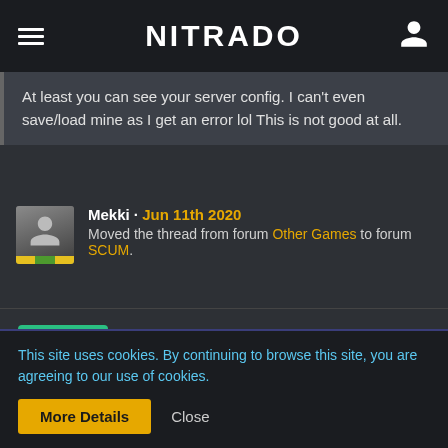NITRADO
At least you can see your server config. I can't even save/load mine as I get an error lol This is not good at all.
Mekki · Jun 11th 2020
Moved the thread from forum Other Games to forum SCUM.
TheRealCaptainKush
Customer
This site uses cookies. By continuing to browse this site, you are agreeing to our use of cookies.